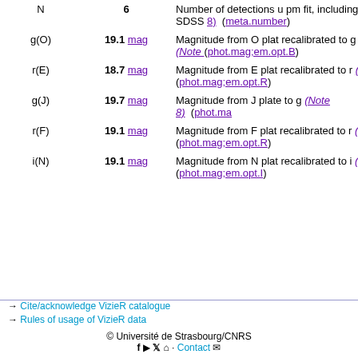| Name | Value | Description |
| --- | --- | --- |
| N | 6 | Number of detections used in the pm fit, including SDSS (Note 8) (meta.number) |
| g(O) | 19.1 mag | Magnitude from O plate, recalibrated to g (Note ...) (phot.mag;em.opt.B) |
| r(E) | 18.7 mag | Magnitude from E plate, recalibrated to r (Note ...) (phot.mag;em.opt.R) |
| g(J) | 19.7 mag | Magnitude from J plate, to g (Note 8) (phot.mag...) |
| r(F) | 19.1 mag | Magnitude from F plate, recalibrated to r (Note ...) (phot.mag;em.opt.R) |
| i(N) | 19.1 mag | Magnitude from N plate, recalibrated to i (Note ...) (phot.mag;em.opt.I) |
→ Cite/acknowledge VizieR catalogue
→ Rules of usage of VizieR data
© Université de Strasbourg/CNRS  Contact